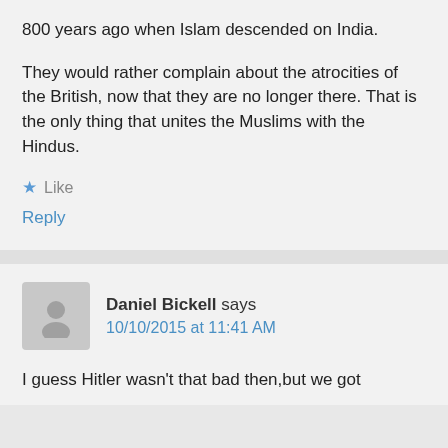800 years ago when Islam descended on India.
They would rather complain about the atrocities of the British, now that they are no longer there. That is the only thing that unites the Muslims with the Hindus.
Like
Reply
Daniel Bickell says
10/10/2015 at 11:41 AM
I guess Hitler wasn't that bad then,but we got